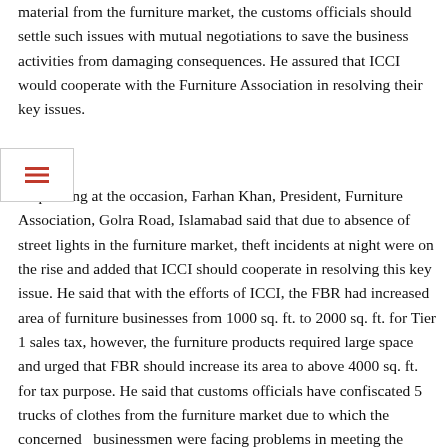material from the furniture market, the customs officials should settle such issues with mutual negotiations to save the business activities from damaging consequences. He assured that ICCI would cooperate with the Furniture Association in resolving their key issues.
Speaking at the occasion, Farhan Khan, President, Furniture Association, Golra Road, Islamabad said that due to absence of street lights in the furniture market, theft incidents at night were on the rise and added that ICCI should cooperate in resolving this key issue. He said that with the efforts of ICCI, the FBR had increased area of furniture businesses from 1000 sq. ft. to 2000 sq. ft. for Tier 1 sales tax, however, the furniture products required large space and urged that FBR should increase its area to above 4000 sq. ft. for tax purpose. He said that customs officials have confiscated 5 trucks of clothes from the furniture market due to which the concerned businessmen were facing problems in meeting the furniture demands of customers and said that ICCI should play a role to resolve this serious issue.